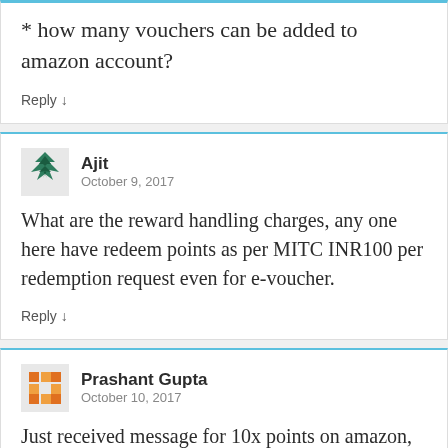* how many vouchers can be added to amazon account?
Reply ↓
Ajit
October 9, 2017
What are the reward handling charges, any one here have redeem points as per MITC INR100 per redemption request even for e-voucher.
Reply ↓
Prashant Gupta
October 10, 2017
Just received message for 10x points on amazon,